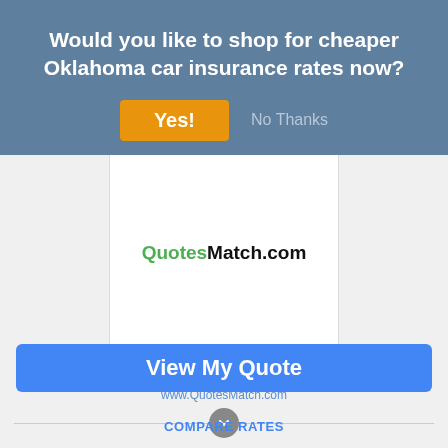Would you like to shop for cheaper Oklahoma car insurance rates now?
Yes!
No Thanks
[Figure (logo): QuotesMatch.com logo with 'Quotes' in green and 'Match.com' in black bold text]
Quotes in Loudoun Start at $49/mth*
www.QuotesMatch.com
View My Quote
COMPARE RATES